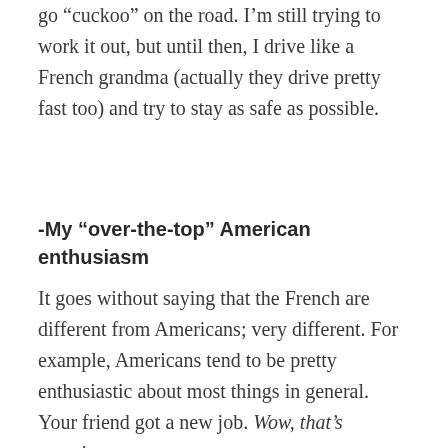go “cuckoo” on the road. I’m still trying to work it out, but until then, I drive like a French grandma (actually they drive pretty fast too) and try to stay as safe as possible.
-My “over-the-top” American enthusiasm
It goes without saying that the French are different from Americans; very different. For example, Americans tend to be pretty enthusiastic about most things in general. Your friend got a new job. Wow, that’s amazing;